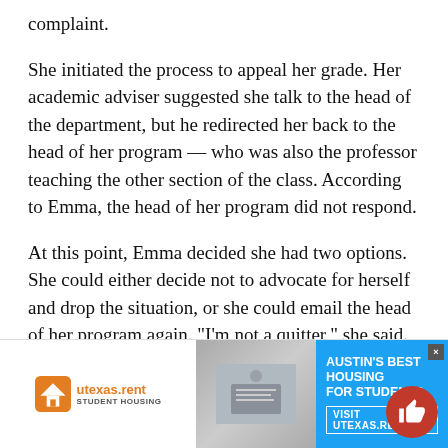complaint.
She initiated the process to appeal her grade. Her academic adviser suggested she talk to the head of the department, but he redirected her back to the head of her program — who was also the professor teaching the other section of the class. According to Emma, the head of her program did not respond.
At this point, Emma decided she had two options. She could either decide not to advocate for herself and drop the situation, or she could email the head of her program again. “I’m not a quitter,” she said.
In an email to the head of her program, Emma laid out the entire story, which she felt substant×ed her g… uncol…
[Figure (other): Advertisement overlay: utexas.rent student housing ad with blue background and thumbnail image of student at laptop. Shows 'AUSTIN'S BEST HOUSING FOR STUDENTS' and 'VISIT UTEXAS.RENT' text. Red circular thumbs-up button on the right.]